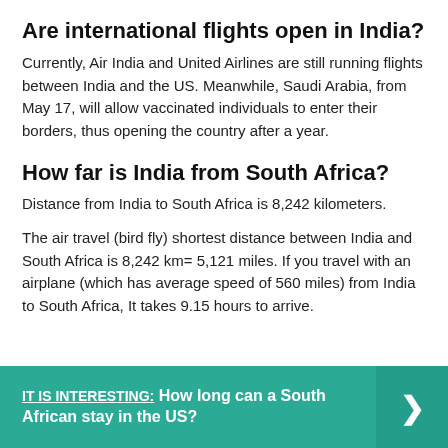Are international flights open in India?
Currently, Air India and United Airlines are still running flights between India and the US. Meanwhile, Saudi Arabia, from May 17, will allow vaccinated individuals to enter their borders, thus opening the country after a year.
How far is India from South Africa?
Distance from India to South Africa is 8,242 kilometers.
The air travel (bird fly) shortest distance between India and South Africa is 8,242 km= 5,121 miles. If you travel with an airplane (which has average speed of 560 miles) from India to South Africa, It takes 9.15 hours to arrive.
IT IS INTERESTING:  How long can a South African stay in the US?